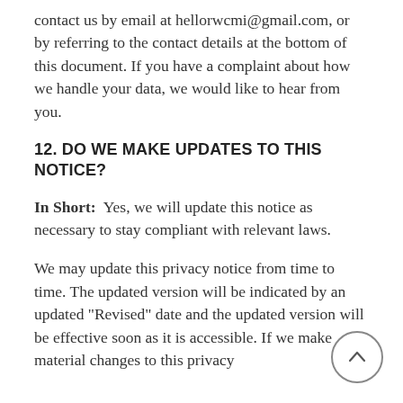contact us by email at hellorwcmi@gmail.com, or by referring to the contact details at the bottom of this document. If you have a complaint about how we handle your data, we would like to hear from you.
12. DO WE MAKE UPDATES TO THIS NOTICE?
In Short:  Yes, we will update this notice as necessary to stay compliant with relevant laws.
We may update this privacy notice from time to time. The updated version will be indicated by an updated "Revised" date and the updated version will be effective soon as it is accessible. If we make material changes to this privacy notice, we may notify you with...